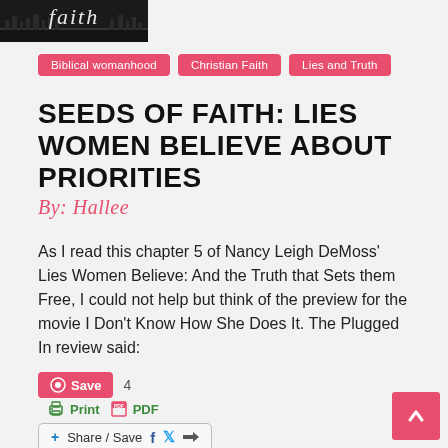[Figure (logo): Stylized script logo partially visible, dark background with decorative text]
Biblical womanhood
Christian Faith
Lies and Truth
SEEDS OF FAITH: LIES WOMEN BELIEVE ABOUT PRIORITIES
By: Hallee
As I read this chapter 5 of Nancy Leigh DeMoss' Lies Women Believe: And the Truth that Sets them Free, I could not help but think of the preview for the movie I Don't Know How She Does It. The Plugged In review said:
Save   4
Print   PDF
+ Share / Save